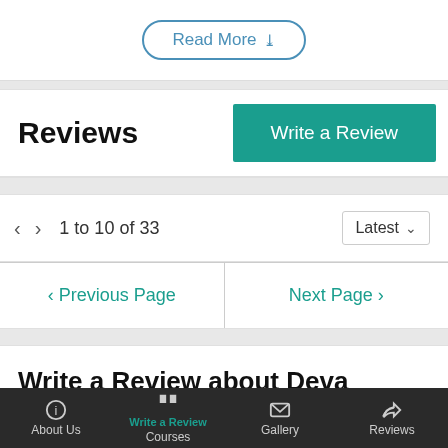Read More
Reviews
Write a Review
1 to 10 of 33
Latest
< Previous Page
Next Page >
Write a Review about Deva Coaching
Have Query?
About Us   Courses   Gallery   Reviews